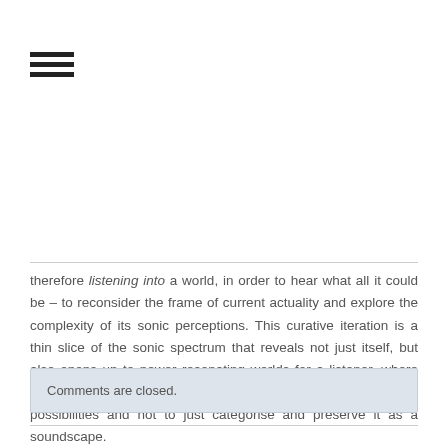[Figure (other): Hamburger menu icon — three horizontal black bars]
therefore listening into a world, in order to hear what all it could be – to reconsider the frame of current actuality and explore the complexity of its sonic perceptions. This curative iteration is a thin slice of the sonic spectrum that reveals not just itself, but also opens up to newer resonating worlds for a listener, where the aim is to illuminate and generate the dynamically plural possibilities and not to just categorise and preserve it as a soundscape.
http://soundreasons.in/festival/
Comments are closed.